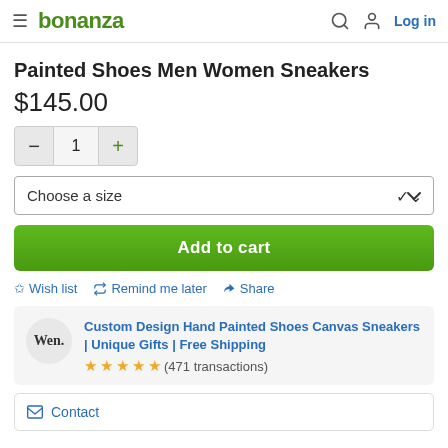bonanza | Log in
Painted Shoes Men Women Sneakers
$145.00
Quantity: − 1 +
Choose a size
Add to cart
☆ Wish list
Remind me later
< Share
Custom Design Hand Painted Shoes Canvas Sneakers | Unique Gifts | Free Shipping
★★★★★ (471 transactions)
Contact